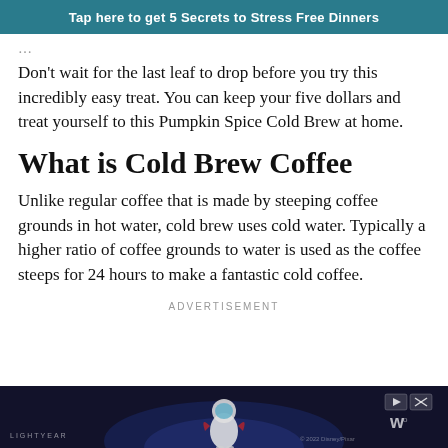Tap here to get 5 Secrets to Stress Free Dinners
Don't wait for the last leaf to drop before you try this incredibly easy treat. You can keep your five dollars and treat yourself to this Pumpkin Spice Cold Brew at home.
What is Cold Brew Coffee
Unlike regular coffee that is made by steeping coffee grounds in hot water, cold brew uses cold water. Typically a higher ratio of coffee grounds to water is used as the coffee steeps for 24 hours to make a fantastic cold coffee.
ADVERTISEMENT
[Figure (screenshot): Dark advertisement banner showing Buzz Lightyear character from Disney/Pixar Lightyear movie with playback and close controls]